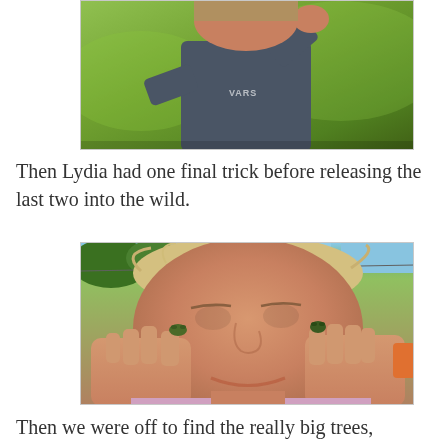[Figure (photo): A girl in a dark gray sweatshirt holding something, standing outdoors on a grassy lawn in sunlight. Only partial view — torso and raised fist visible.]
Then Lydia had one final trick before releasing the last two into the wild.
[Figure (photo): Close-up of a young girl smiling, holding two tiny frogs up to her eyes as if they were glasses, with green trees and sky in the background.]
Then we were off to find the really big trees,